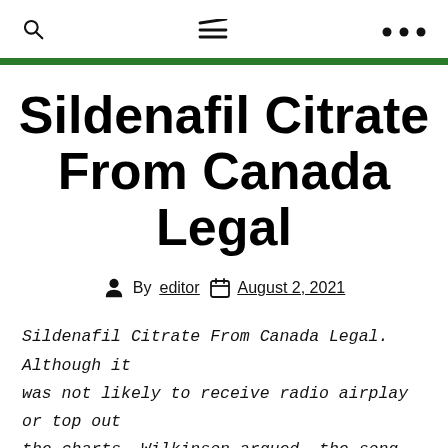🔍  ≡  •••
Sildenafil Citrate From Canada Legal
By editor  August 2, 2021
Sildenafil Citrate From Canada Legal. Although it was not likely to receive radio airplay or top out the charts, Wilkinson argued, the song showed that